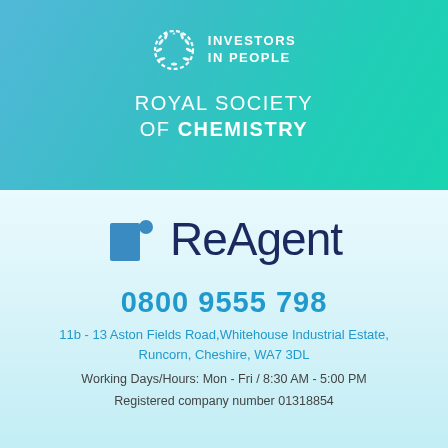[Figure (logo): Investors in People logo with wreath and text on teal/blue gradient banner]
ROYAL SOCIETY OF CHEMISTRY
[Figure (logo): ReAgent company logo with blue square icon and dot, and ReAgent wordmark in dark navy]
0800 9555 798
11b - 13 Aston Fields Road, Whitehouse Industrial Estate, Runcorn, Cheshire, WA7 3DL
Working Days/Hours: Mon - Fri / 8:30 AM - 5:00 PM
Registered company number 01318854